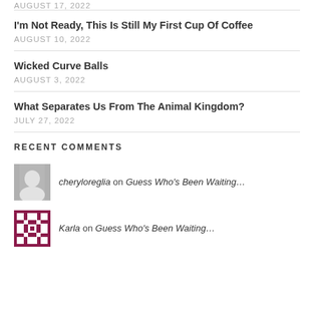AUGUST 17, 2022
I'm Not Ready, This Is Still My First Cup Of Coffee
AUGUST 10, 2022
Wicked Curve Balls
AUGUST 3, 2022
What Separates Us From The Animal Kingdom?
JULY 27, 2022
RECENT COMMENTS
cheryloreglia on Guess Who's Been Waiting...
Karla on Guess Who's Been Waiting...